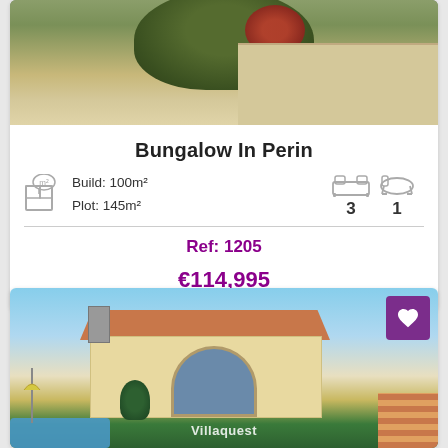[Figure (photo): Exterior photo of bungalow showing flowering bougainvillea and stone wall]
Bungalow In Perin
Build: 100m²
Plot: 145m²
3 bedrooms, 1 bathroom
Ref: 1205
€114,995
[Figure (photo): Exterior photo of villa with pool, arched windows, terracotta roof and garden. Villaquest watermark visible.]